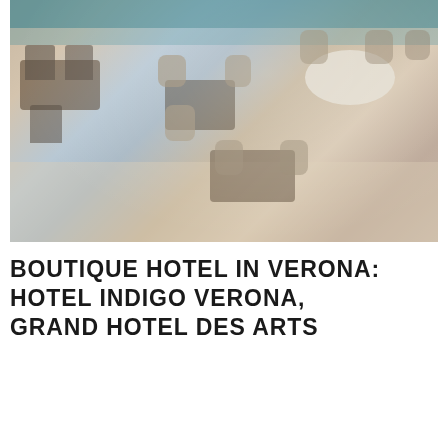[Figure (photo): Interior photo of a restaurant or hotel dining area with tables, chairs, tiled floor, and teal-accented decor in the background. Tables have round and rectangular tops; chairs are dark and wicker-style.]
BOUTIQUE HOTEL IN VERONA: HOTEL INDIGO VERONA, GRAND HOTEL DES ARTS